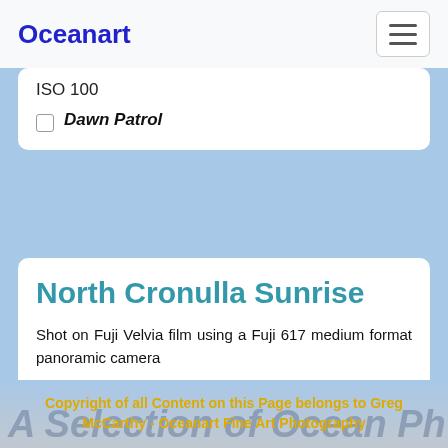Oceanart
ISO 100
Dawn Patrol
North Cronulla Sunrise
Shot on Fuji Velvia film using a Fuji 617 medium format panoramic camera
Sunrise at North Cronulla Beach
Copyright of all Content on this Page belongs to Greg McCarthy - Oceanart Fine Art Photography